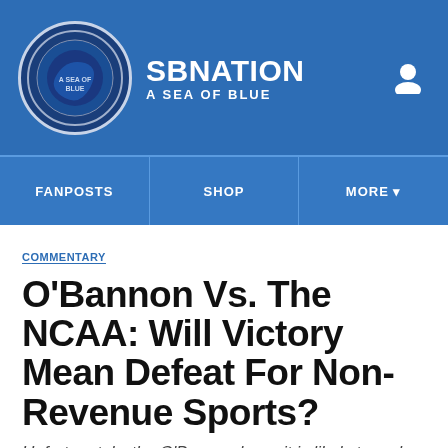SBNATION | A SEA OF BLUE
FANPOSTS | SHOP | MORE
COMMENTARY
O'Bannon Vs. The NCAA: Will Victory Mean Defeat For Non-Revenue Sports?
Unfortunately, the O'Bannon lawsuit is likely to make losers of the good guys.
By Glenn Logan | Jun 2, 2014, 10:00pm EDT